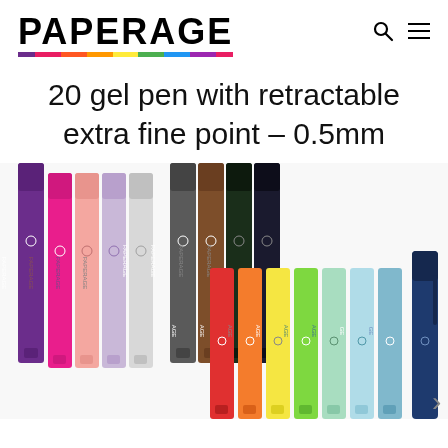PAPERAGE
20 gel pen with retractable extra fine point - 0.5mm
[Figure (photo): Photo of 20 colorful retractable gel pens fanned out, showing a full spectrum of colors including purple, pink, peach, lavender, white/light gray, dark gray, brown, black/dark green, navy, red, orange, yellow, lime green, light green/mint, teal, light blue, and dark navy. The pens are displayed with caps closed, showing the PAPERAGE branding printed vertically on each pen barrel. A right-facing navigation arrow is visible at the bottom right.]